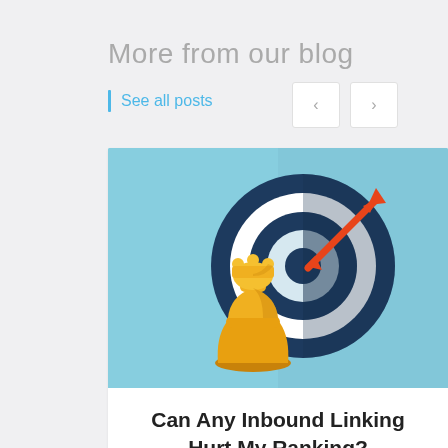More from our blog
See all posts
[Figure (illustration): Flat illustration showing a chess queen piece (golden/yellow) in front of a bullseye target with a red arrow hitting near the center. Light blue background. The target has dark navy and white concentric rings.]
Can Any Inbound Linking Hurt My Ranking?